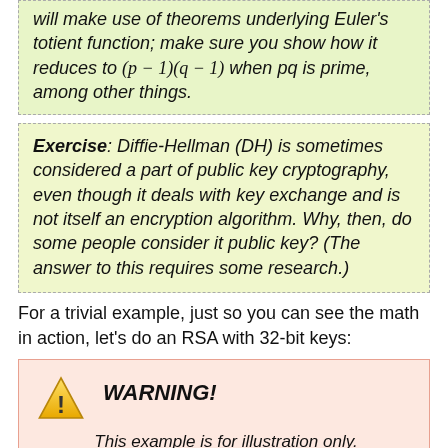will make use of theorems underlying Euler's totient function; make sure you show how it reduces to (p − 1)(q − 1) when pq is prime, among other things.
Exercise: Diffie-Hellman (DH) is sometimes considered a part of public key cryptography, even though it deals with key exchange and is not itself an encryption algorithm. Why, then, do some people consider it public key? (The answer to this requires some research.)
For a trivial example, just so you can see the math in action, let's do an RSA with 32-bit keys:
WARNING!
This example is for illustration only.